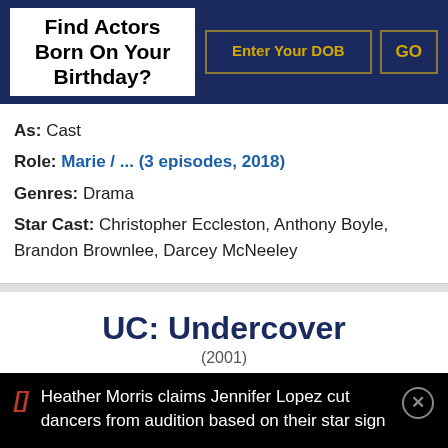Find Actors Born On Your Birthday?
As: Cast
Role: Marie / ... (3 episodes, 2018)
Genres: Drama
Star Cast: Christopher Eccleston, Anthony Boyle, Brandon Brownlee, Darcey McNeeley
UC: Undercover
(2001)
[Figure (photo): Movie poster for UC: Undercover with dark blue and grey tones]
Heather Morris claims Jennifer Lopez cut dancers from audition based on their star sign